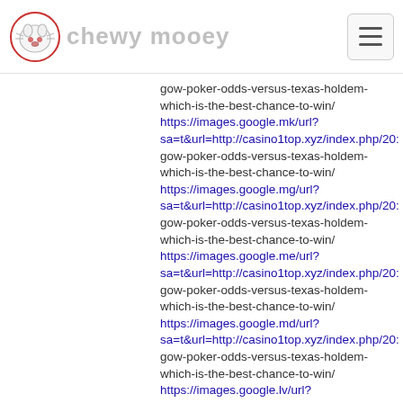chewy mooey
gow-poker-odds-versus-texas-holdem-which-is-the-best-chance-to-win/ https://images.google.mk/url?sa=t&url=http://casino1top.xyz/index.php/20: gow-poker-odds-versus-texas-holdem-which-is-the-best-chance-to-win/ https://images.google.mg/url?sa=t&url=http://casino1top.xyz/index.php/20: gow-poker-odds-versus-texas-holdem-which-is-the-best-chance-to-win/ https://images.google.me/url?sa=t&url=http://casino1top.xyz/index.php/20: gow-poker-odds-versus-texas-holdem-which-is-the-best-chance-to-win/ https://images.google.md/url?sa=t&url=http://casino1top.xyz/index.php/20: gow-poker-odds-versus-texas-holdem-which-is-the-best-chance-to-win/ https://images.google.lv/url?sa=t&url=http://casino1top.xyz/index.php/20